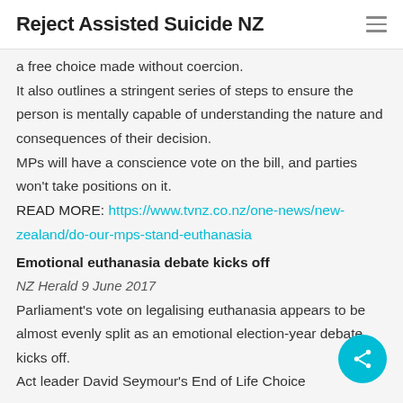Reject Assisted Suicide NZ
a free choice made without coercion.
It also outlines a stringent series of steps to ensure the person is mentally capable of understanding the nature and consequences of their decision.
MPs will have a conscience vote on the bill, and parties won't take positions on it.
READ MORE: https://www.tvnz.co.nz/one-news/new-zealand/do-our-mps-stand-euthanasia
Emotional euthanasia debate kicks off
NZ Herald 9 June 2017
Parliament's vote on legalising euthanasia appears to be almost evenly split as an emotional election-year debate kicks off.
Act leader David Seymour's End of Life Choice